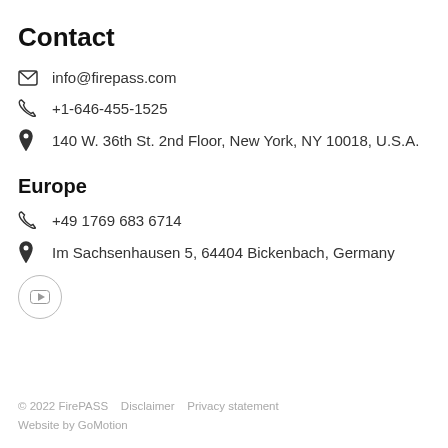Contact
info@firepass.com
+1-646-455-1525
140 W. 36th St. 2nd Floor, New York, NY 10018, U.S.A.
Europe
+49 1769 683 6714
Im Sachsenhausen 5, 64404 Bickenbach, Germany
[Figure (logo): YouTube icon in a circle]
© 2022 FirePASS    Disclaimer    Privacy statement
Website by GoMotion